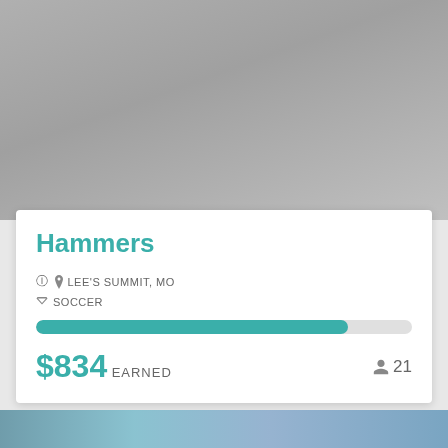[Figure (photo): Gray/silver background image at the top of the card, partially cropped]
Hammers
LEE'S SUMMIT, MO
SOCCER
[Figure (infographic): Teal progress bar approximately 83% filled]
$834 EARNED
21
[Figure (photo): Partially visible colorful image at the bottom of the page]